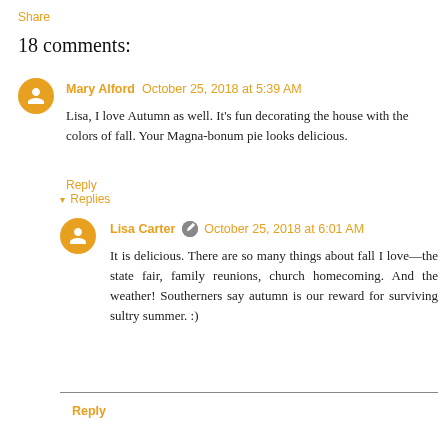Share
18 comments:
Mary Alford  October 25, 2018 at 5:39 AM
Lisa, I love Autumn as well. It's fun decorating the house with the colors of fall. Your Magna-bonum pie looks delicious.
Reply
▾  Replies
Lisa Carter  October 25, 2018 at 6:01 AM
It is delicious. There are so many things about fall I love—the state fair, family reunions, church homecoming. And the weather! Southerners say autumn is our reward for surviving sultry summer. :)
Reply